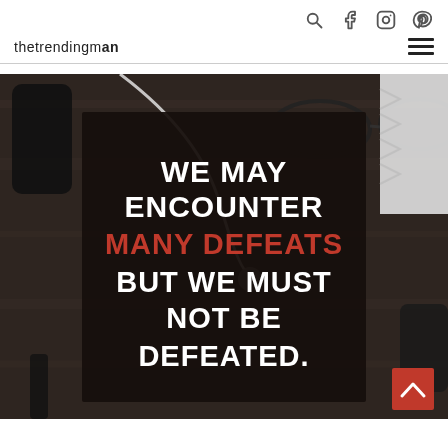Social icons: search, facebook, instagram, pinterest
thetrendingman logo and hamburger menu
[Figure (photo): A dark wooden desk with earphones, eyeglasses, smartphone, and a notebook with chevron pattern. A dark card overlay shows the quote: WE MAY ENCOUNTER MANY DEFEATS BUT WE MUST NOT BE DEFEATED. A red scroll-up button is in the bottom-right corner.]